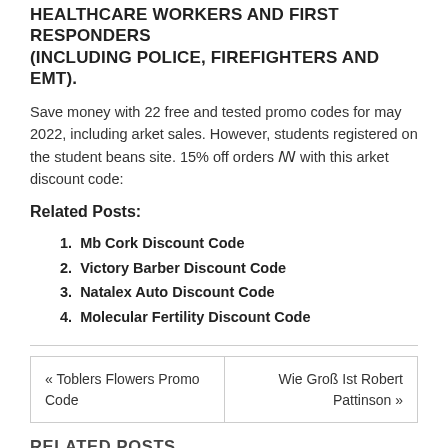HEALTHCARE WORKERS AND FIRST RESPONDERS (INCLUDING POLICE, FIREFIGHTERS AND EMT).
Save money with 22 free and tested promo codes for may 2022, including arket sales. However, students registered on the student beans site. 15% off orders ꟿ with this arket discount code:
Related Posts:
Mb Cork Discount Code
Victory Barber Discount Code
Natalex Auto Discount Code
Molecular Fertility Discount Code
« Toblers Flowers Promo Code     Wie Groß Ist Robert Pattinson »
RELATED POSTS